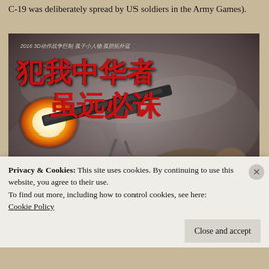C-19 was deliberately spread by US soldiers in the Army Games).
[Figure (photo): Chinese action movie poster showing a soldier firing a large machine gun with explosion effects. Chinese text reads '犯我中华者 虽远必诛' (Those who offend China, though far away, must be punished). Top text shows '2016 3D动作战争巨制 孤子小人物 孤胆拓外寇'.]
Privacy & Cookies: This site uses cookies. By continuing to use this website, you agree to their use.
To find out more, including how to control cookies, see here:
Cookie Policy
Close and accept